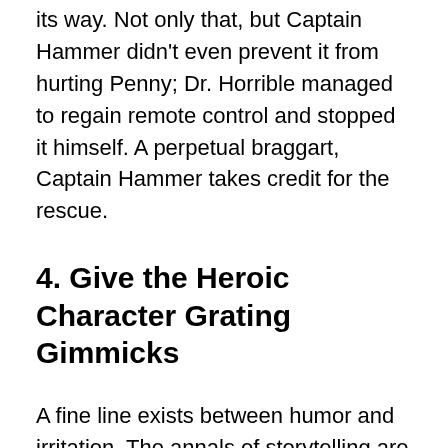damaged the control mechanism and let it go on its way. Not only that, but Captain Hammer didn't even prevent it from hurting Penny; Dr. Horrible managed to regain remote control and stopped it himself. A perpetual braggart, Captain Hammer takes credit for the rescue.
4. Give the Heroic Character Grating Gimmicks
A fine line exists between humor and irritation. The annals of storytelling are filled with characters like Neelix and Jar Jar, who were intended as funny but turned out vexing instead. Characters with irritating gimmicks have several traits in common.